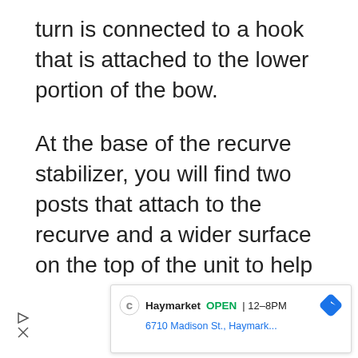turn is connected to a hook that is attached to the lower portion of the bow.
At the base of the recurve stabilizer, you will find two posts that attach to the recurve and a wider surface on the top of the unit to help increase weight. This
[Figure (screenshot): Advertisement overlay showing Haymarket store info: OPEN 12-8PM, 6710 Madison St., Haymark... with a navigation arrow icon and a circular C logo icon. Play and close controls on the left side.]